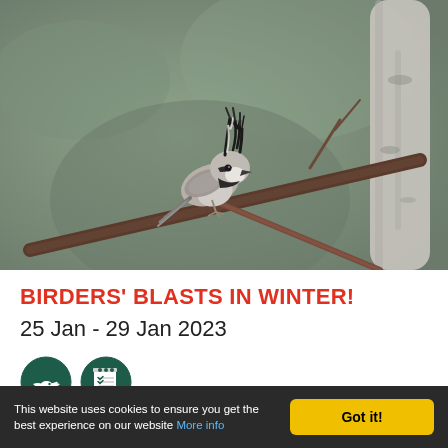[Figure (photo): A crested tit bird perched on thin winter branches against a blurred green-grey background. The small bird has a distinctive black-and-white crest raised upward and is gripping a dark twig.]
BIRDERS' BLASTS IN WINTER!
25 Jan - 29 Jan 2023
[Figure (infographic): Two circular dark green icons side by side: a bird silhouette icon and a notepad/checklist icon.]
This website uses cookies to ensure you get the best experience on our website More info